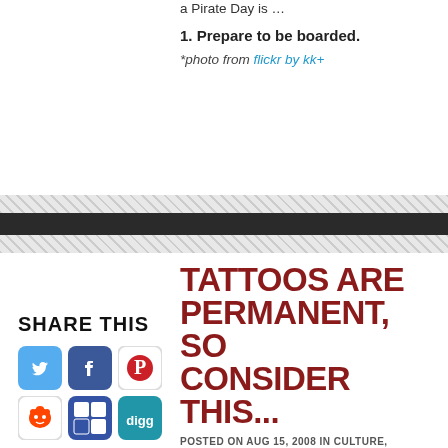a Pirate Day is …
1. Prepare to be boarded.
*photo from flickr by kk+
SHARE THIS
[Figure (infographic): Social media sharing icons: Twitter (blue bird), Facebook (blue f), Pinterest (red P), Reddit (alien), Delicious (blue squares), Digg (teal)]
TATTOOS ARE PERMANENT, SO CONSIDER THIS...
POSTED ON AUG 15, 2008 IN CULTURE, STUNNING OBSERVATIONS | 3 COMMENTS
I've been seeing a lot more people with ink lately. Tattoos are not just for bikers and gang members anymore. Now instead of taking time off from your busy schedule to spend time in your local penitentiary it's socially acceptable to go out
RELATED POSTS